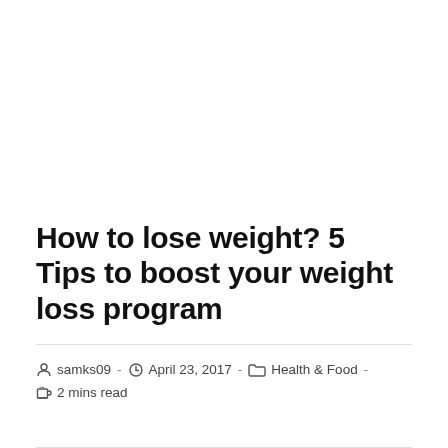How to lose weight? 5 Tips to boost your weight loss program
samks09  ·  April 23, 2017  ·  Health & Food  ·  2 mins read